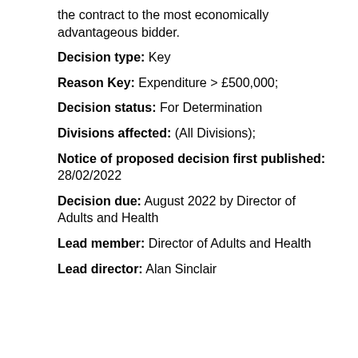the contract to the most economically advantageous bidder.
Decision type: Key
Reason Key: Expenditure > £500,000;
Decision status: For Determination
Divisions affected: (All Divisions);
Notice of proposed decision first published: 28/02/2022
Decision due: August 2022 by Director of Adults and Health
Lead member: Director of Adults and Health
Lead director: Alan Sinclair